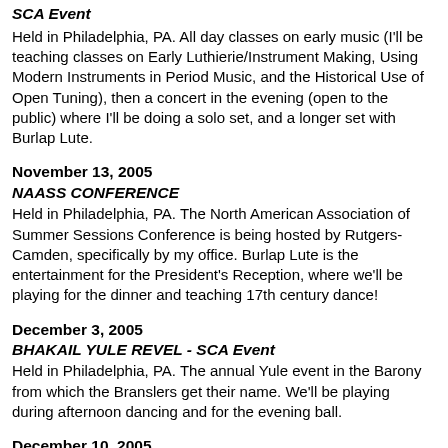NOISEMAKERS - A MUSIC AND HERALDRY SCHOOL - SCA Event
Held in Philadelphia, PA. All day classes on early music (I'll be teaching classes on Early Luthierie/Instrument Making, Using Modern Instruments in Period Music, and the Historical Use of Open Tuning), then a concert in the evening (open to the public) where I'll be doing a solo set, and a longer set with Burlap Lute.
November 13, 2005
NAASS CONFERENCE
Held in Philadelphia, PA. The North American Association of Summer Sessions Conference is being hosted by Rutgers-Camden, specifically by my office. Burlap Lute is the entertainment for the President's Reception, where we'll be playing for the dinner and teaching 17th century dance!
December 3, 2005
BHAKAIL YULE REVEL - SCA Event
Held in Philadelphia, PA. The annual Yule event in the Barony from which the Branslers get their name. We'll be playing during afternoon dancing and for the evening ball.
December 10, 2005
MISTLETOE REVEL - SCA Event
Pomona, NJ. The very nice annual event in Barren Sands.